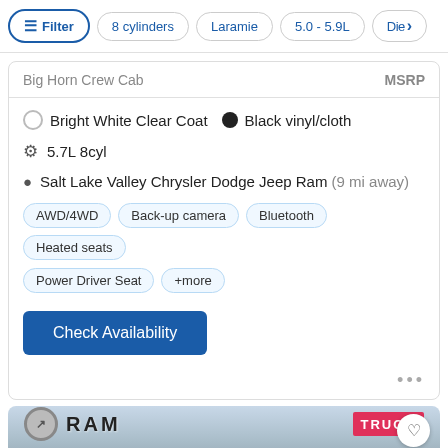Filter | 8 cylinders | Laramie | 5.0 - 5.9L | Die>
Big Horn Crew Cab | MSRP
Bright White Clear Coat  ●  Black vinyl/cloth
⚙ 5.7L 8cyl
📍 Salt Lake Valley Chrysler Dodge Jeep Ram (9 mi away)
AWD/4WD
Back-up camera
Bluetooth
Heated seats
Power Driver Seat
+more
Check Availability
[Figure (photo): RAM truck shown at a RAM dealership lot, front three-quarter view, silver/gray color, with RAM and TRUCK signs visible in background]